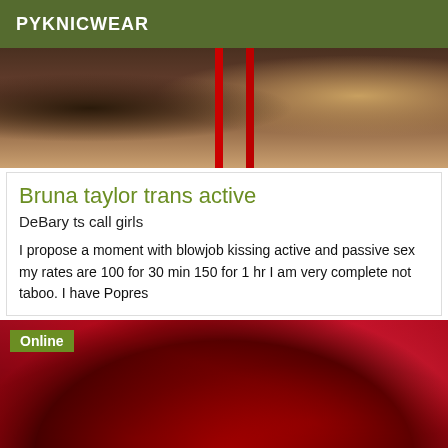PYKNICWEAR
[Figure (photo): Tattoo close-up photo showing skull and other tattoo artwork on skin, with red stripe elements in background]
Bruna taylor trans active
DeBary ts call girls
I propose a moment with blowjob kissing active and passive sex my rates are 100 for 30 min 150 for 1 hr I am very complete not taboo. I have Popres
[Figure (photo): Photo with pink/red lighting showing person in red clothing, with Online badge overlay]